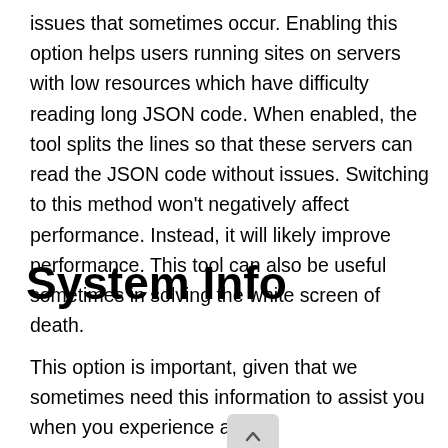issues that sometimes occur. Enabling this option helps users running sites on servers with low resources which have difficulty reading long JSON code. When enabled, the tool splits the lines so that these servers can read the JSON code without issues. Switching to this method won't negatively affect performance. Instead, it will likely improve performance. This tool can also be useful sometimes in solving the white screen of death.
System Info
This option is important, given that we sometimes need this information to assist you when you experience a bug.